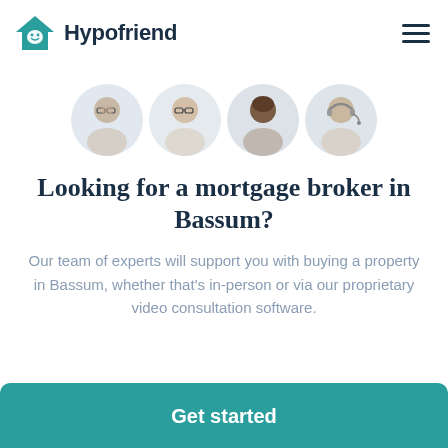[Figure (logo): Hypofriend logo: teal house icon with smiley face window, followed by bold text 'Hypofriend']
[Figure (photo): Four circular avatar photos of mortgage broker team members — two men with glasses, one Black man, one man with headset — on light grey circular backgrounds]
Looking for a mortgage broker in Bassum?
Our team of experts will support you with buying a property in Bassum, whether that's in-person or via our proprietary video consultation software.
Get started